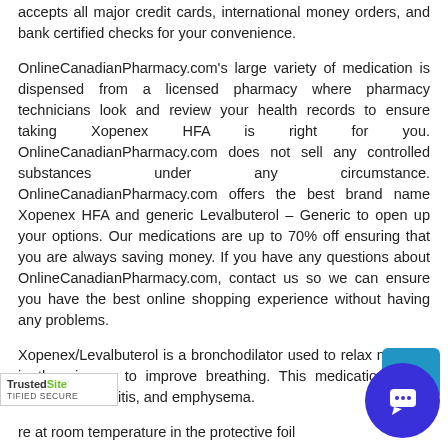accepts all major credit cards, international money orders, and bank certified checks for your convenience.
OnlineCanadianPharmacy.com's large variety of medication is dispensed from a licensed pharmacy where pharmacy technicians look and review your health records to ensure taking Xopenex HFA is right for you. OnlineCanadianPharmacy.com does not sell any controlled substances under any circumstance. OnlineCanadianPharmacy.com offers the best brand name Xopenex HFA and generic Levalbuterol – Generic to open up your options. Our medications are up to 70% off ensuring that you are always saving money. If you have any questions about OnlineCanadianPharmacy.com, contact us so we can ensure you have the best online shopping experience without having any problems.
Xopenex/Levalbuterol is a bronchodilator used to relax muscles in the airways to improve breathing. This medication treats asthma, bronchitis, and emphysema.
re at room temperature in the protective foil
[Figure (other): TrustedSite certified secure badge in bottom left corner]
[Figure (other): Live chat widget with blue square and blue circle containing chat bubble icon in bottom right corner]